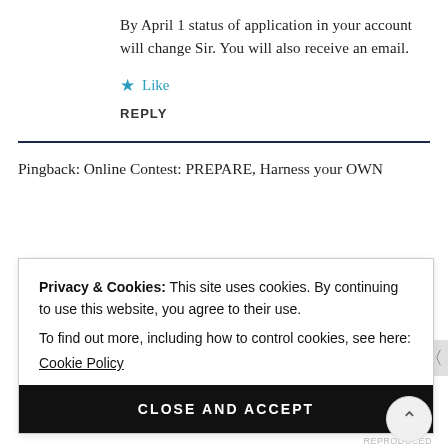By April 1 status of application in your account will change Sir. You will also receive an email.
★ Like
REPLY
Pingback: Online Contest: PREPARE, Harness your OWN
Privacy & Cookies: This site uses cookies. By continuing to use this website, you agree to their use.
To find out more, including how to control cookies, see here:
Cookie Policy
CLOSE AND ACCEPT